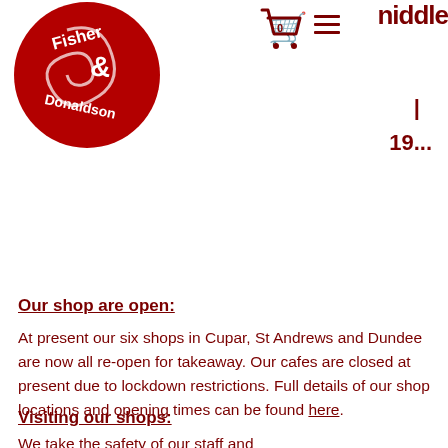[Figure (logo): Fisher & Donaldson circular red logo with white text and decorative swirl]
0  ≡  niddle
|
19...
Our shop are open:
At present our six shops in Cupar, St Andrews and Dundee are now all re-open for takeaway. Our cafes are closed at present due to lockdown restrictions. Full details of our shop locations and opening times can be found here.
Visiting our shops:
We take the safety of our staff and